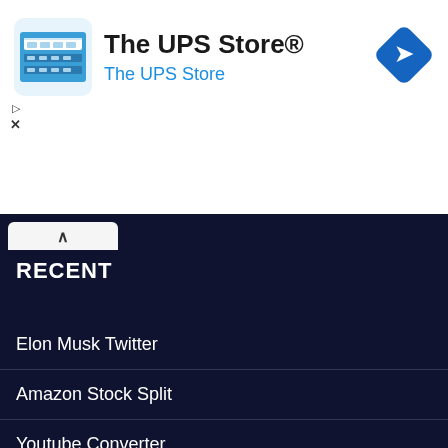[Figure (illustration): The UPS Store advertisement banner with store icon, title 'The UPS Store®', subtitle 'The UPS Store', and a blue navigation arrow diamond icon on the right]
RECENT
Elon Musk Twitter
Amazon Stock Split
Youtube Converter
A safe steroid store
Instagram Logo